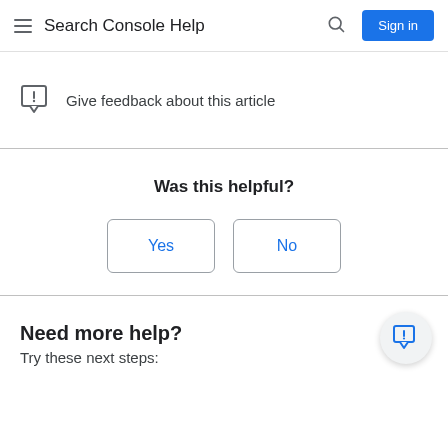Search Console Help
Give feedback about this article
Was this helpful?
Yes
No
Need more help?
Try these next steps: